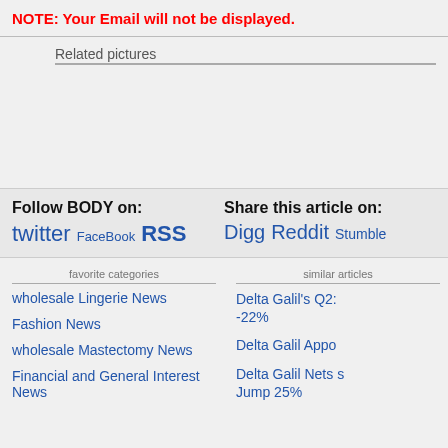NOTE: Your Email will not be displayed.
Related pictures
Follow BODY on: twitter FaceBook RSS
Share this article on: Digg Reddit Stumble
favorite categories
similar articles
wholesale Lingerie News
Fashion News
wholesale Mastectomy News
Financial and General Interest News
Delta Galil's Q2: -22%
Delta Galil Appo
Delta Galil Nets s Jump 25%